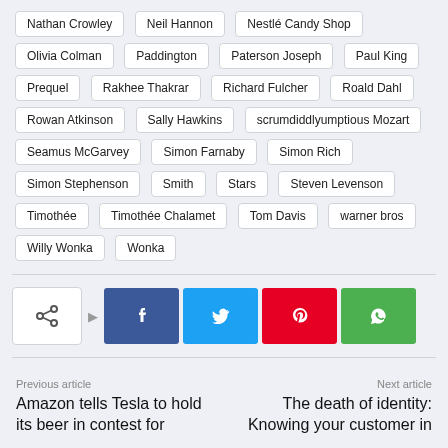Nathan Crowley
Neil Hannon
Nestlé Candy Shop
Olivia Colman
Paddington
Paterson Joseph
Paul King
Prequel
Rakhee Thakrar
Richard Fulcher
Roald Dahl
Rowan Atkinson
Sally Hawkins
scrumdiddlyumptious Mozart
Seamus McGarvey
Simon Farnaby
Simon Rich
Simon Stephenson
Smith
Stars
Steven Levenson
Timothée
Timothée Chalamet
Tom Davis
warner bros
Willy Wonka
Wonka
[Figure (infographic): Social share bar with share icon, arrow, and buttons for Facebook, Twitter, Pinterest, WhatsApp]
Previous article
Amazon tells Tesla to hold its beer in contest for
Next article
The death of identity: Knowing your customer in